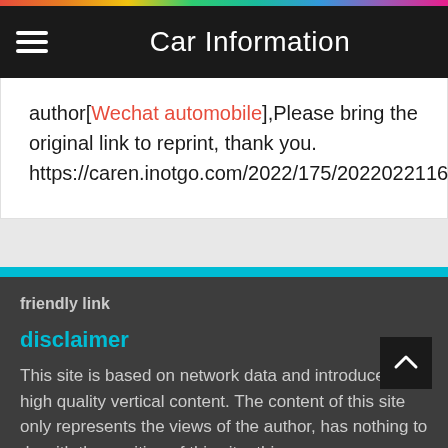Car Information
author[Wechat automobile],Please bring the original link to reprint, thank you.
https://caren.inotgo.com/2022/175/202202211603572407.html
friendly link
disclaimer
This site is based on network data and introduces high quality vertical content. The content of this site only represents the views of the author, has nothing to do with the position of this site, this